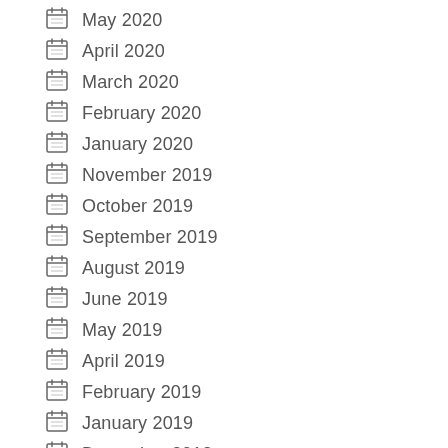May 2020
April 2020
March 2020
February 2020
January 2020
November 2019
October 2019
September 2019
August 2019
June 2019
May 2019
April 2019
February 2019
January 2019
December 2018